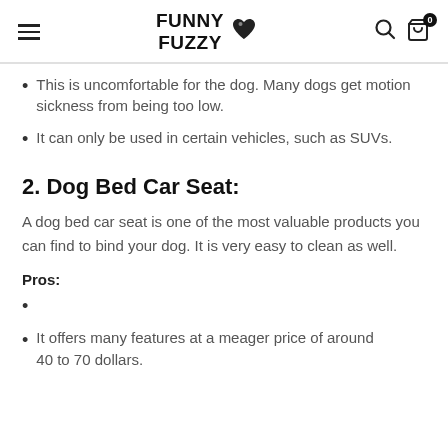FUNNY FUZZY
This is uncomfortable for the dog. Many dogs get motion sickness from being too low.
It can only be used in certain vehicles, such as SUVs.
2. Dog Bed Car Seat:
A dog bed car seat is one of the most valuable products you can find to bind your dog. It is very easy to clean as well.
Pros:
It offers many features at a meager price of around 40 to 70 dollars.